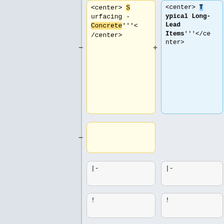<center> Surfacing - Concrete'''</center>
<center> Typical Long-Lead Items'''</center>
|-
|-
!
!
<center>'''Work Item'''</center>
<center>'''Work Item'''</center>
!
!
<center>'''Time'''</center>
<center>'''Lead Time